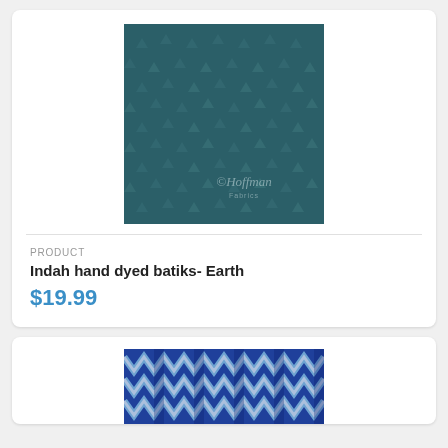[Figure (photo): Teal/dark blue-green fabric with small scattered triangle pattern, Hoffman Fabrics watermark in bottom right corner]
PRODUCT
Indah hand dyed batiks- Earth
$19.99
[Figure (photo): Blue and white zigzag/chevron pattern batik fabric, ikat style design]